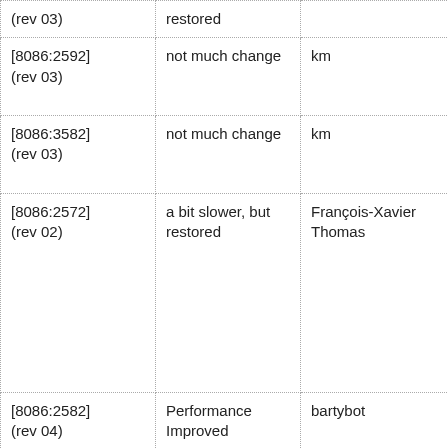| Version | Status | Reporter | Comment |
| --- | --- | --- | --- |
| (rev 03) | restored |  |  |
| [8086:2592] (rev 03) | not much change | km | 108 |
| [8086:3582] (rev 03) | not much change | km | 108 |
| [8086:2572] (rev 02) | a bit slower, but restored | François-Xavier Thomas | Tha tro CPU |
| [8086:2582] (rev 04) | Performance Improved | bartybot | I ca pas |
| [8086:27a2] (rev 03) | Performance Improved | downtownpony | onl "gr The hou |
| [8086:2a02] (rev 0c) | Performance Improved | kyleabeauchamp | Fixe |
| [8086:27a2] (rev 03) | Performance Improved | Duane | Fixe aga |
| [8086:27a2] (rev 03) | Performance Restored | Taner Şenyurt | Fixe |
| [8086:2a02] | Performance | wimpolmoosie | Xer |